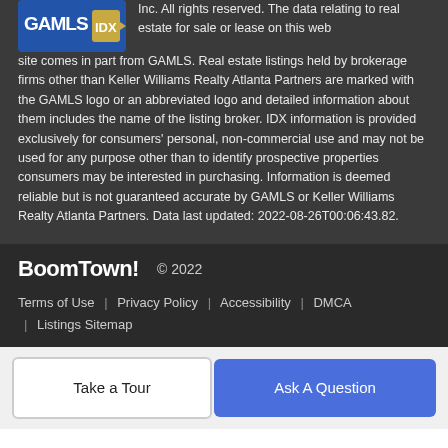[Figure (logo): GAMLS IDX logo in blue and gold on dark background]
Inc. All rights reserved. The data relating to real estate for sale or lease on this web site comes in part from GAMLS. Real estate listings held by brokerage firms other than Keller Williams Realty Atlanta Partners are marked with the GAMLS logo or an abbreviated logo and detailed information about them includes the name of the listing broker. IDX information is provided exclusively for consumers' personal, non-commercial use and may not be used for any purpose other than to identify prospective properties consumers may be interested in purchasing. Information is deemed reliable but is not guaranteed accurate by GAMLS or Keller Williams Realty Atlanta Partners. Data last updated: 2022-08-26T00:06:43.82.
BoomTown! © 2022 | Terms of Use | Privacy Policy | Accessibility | DMCA | Listings Sitemap
Take a Tour
Ask A Question